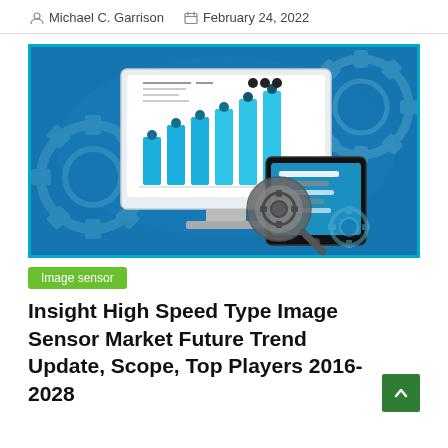Michael C. Garrison  February 24, 2022
[Figure (illustration): Illustration of a computer monitor displaying a bar chart with blue bars and dot indicators, a tablet device with text lines, a magnifying glass with a gear, and gear icons in the background, all on a blue background — representing market/data analytics.]
Image sensor
Insight High Speed Type Image Sensor Market Future Trend Update, Scope, Top Players 2016-2028